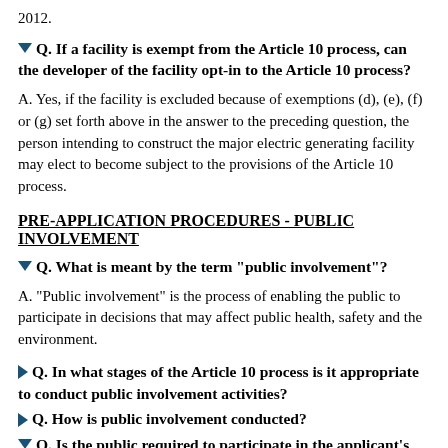2012.
Q. If a facility is exempt from the Article 10 process, can the developer of the facility opt-in to the Article 10 process?
A. Yes, if the facility is excluded because of exemptions (d), (e), (f) or (g) set forth above in the answer to the preceding question, the person intending to construct the major electric generating facility may elect to become subject to the provisions of the Article 10 process.
PRE-APPLICATION PROCEDURES - PUBLIC INVOLVEMENT
Q. What is meant by the term "public involvement"?
A. "Public involvement" is the process of enabling the public to participate in decisions that may affect public health, safety and the environment.
Q. In what stages of the Article 10 process is it appropriate to conduct public involvement activities?
Q. How is public involvement conducted?
Q. Is the public required to participate in the applicant's